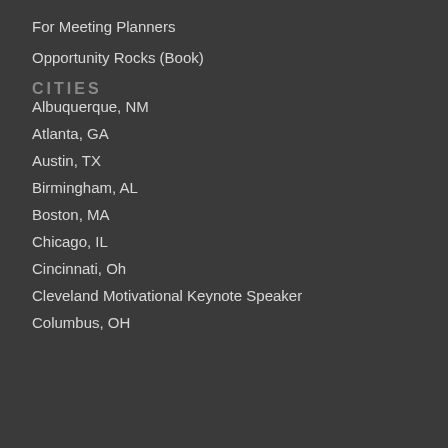For Meeting Planners
Opportunity Rocks (Book)
CITIES
Albuquerque, NM
Atlanta, GA
Austin, TX
Birmingham, AL
Boston, MA
Chicago, IL
Cincinnati, Oh
Cleveland Motivational Keynote Speaker
Columbus, OH